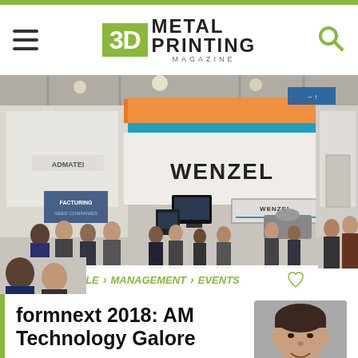3D METAL PRINTING MAGAZINE
[Figure (photo): Trade show exhibition floor with Wenzel and Admatel booths, crowds of visitors walking around, large Wenzel signage visible prominently]
HOME › ARTICLE › MANAGEMENT › EVENTS
formnext 2018: AM Technology Galore
February 20, 2019
[Figure (photo): Headshot of Lou Kren, Senior Editor, smiling man in dark shirt]
LOU KREN
Senior Editor